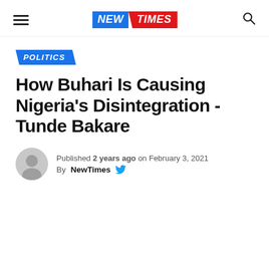NEW TIMES
POLITICS
How Buhari Is Causing Nigeria's Disintegration - Tunde Bakare
Published 2 years ago on February 3, 2021
By NewTimes